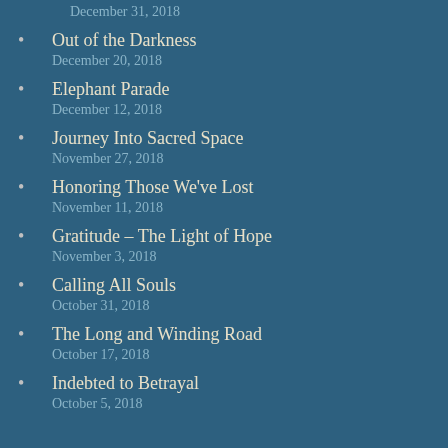December 31, 2018
Out of the Darkness
December 20, 2018
Elephant Parade
December 12, 2018
Journey Into Sacred Space
November 27, 2018
Honoring Those We've Lost
November 11, 2018
Gratitude – The Light of Hope
November 3, 2018
Calling All Souls
October 31, 2018
The Long and Winding Road
October 17, 2018
Indebted to Betrayal
October 5, 2018